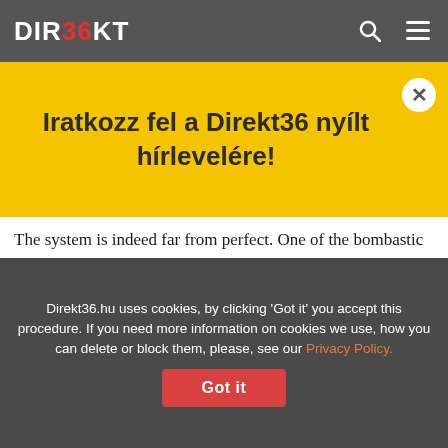DIREKT36
Iratkozz fel a Direkt36 nyílt hírlevelére!
The system is indeed far from perfect. One of the bombastic Facebook ads featured in the article first appeared in mid-November, when Hungarian news media reported it was fake. Two weeks later, we also came across the same ad via another Facebook page. There were a lot of comments added to the ad, most of them warning that the whole thing was a fraud, and there was even a user who, according to an uploaded image,
Direkt36.hu uses cookies, by clicking 'Got it' you accept this procedure. If you need more information on cookies we use, how you can delete or block them, please, see our Privacy Policy.